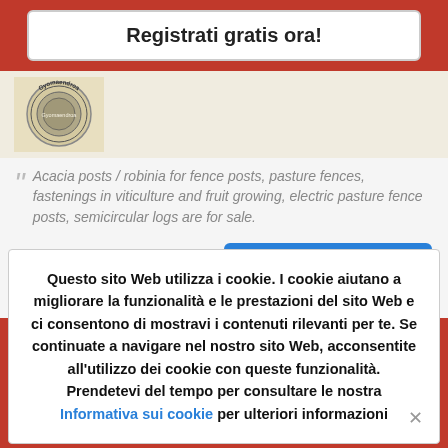Registrati gratis ora!
[Figure (logo): Circular logo/stamp with text 'Gyomaendroa']
Acacia posts / robinia for fence posts, pasture fences, fastenings in viticulture and fruit growing, electric pasture fence posts, semicircular logs are for sale.
Invia messaggio
Indice di risposta: ALTO
Questo sito Web utilizza i cookie. I cookie aiutano a migliorare la funzionalità e le prestazioni del sito Web e ci consentono di mostravi i contenuti rilevanti per te. Se continuate a navigare nel nostro sito Web, acconsentite all'utilizzo dei cookie con queste funzionalità. Prendetevi del tempo per consultare le nostra Informativa sui cookie per ulteriori informazioni